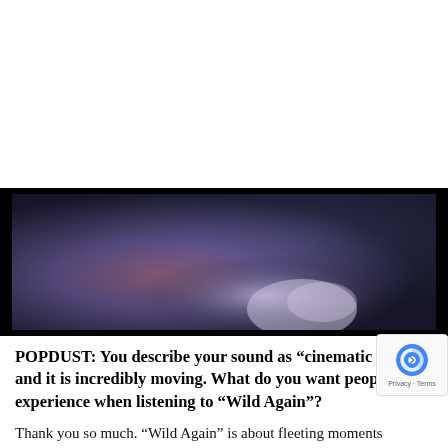[Figure (photo): Dark atmospheric photo with purple and blue tones, showing a blurred figure or silhouette against a moody gradient background]
POPDUST: You describe your sound as “cinematic pop,” and it is incredibly moving. What do you want people to experience when listening to “Wild Again”?
Thank you so much. “Wild Again” is about fleeting moments